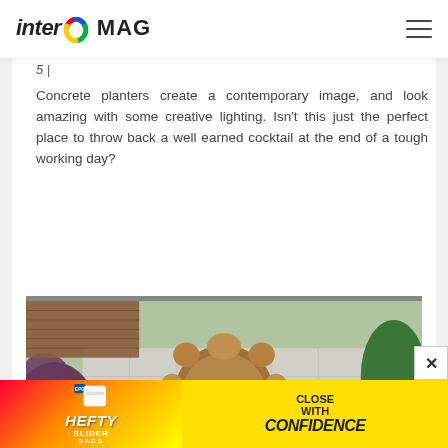inter MAG
Concrete planters create a contemporary image, and look amazing with some creative lighting. Isn’t this just the perfect place to throw back a well earned cocktail at the end of a tough working day?
[Figure (photo): Aerial view of an outdoor patio with a round wooden table and chairs surrounded by green plants and decorative lighting on stone tile flooring.]
[Figure (other): Hefty Slider bags advertisement banner: 'Hefty SLIDER CLOSE WITH CONFIDENCE']